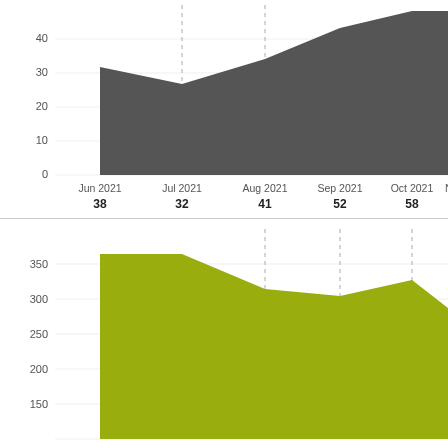[Figure (area-chart): Top chart (gray area)]
[Figure (area-chart): Bottom chart (olive area)]